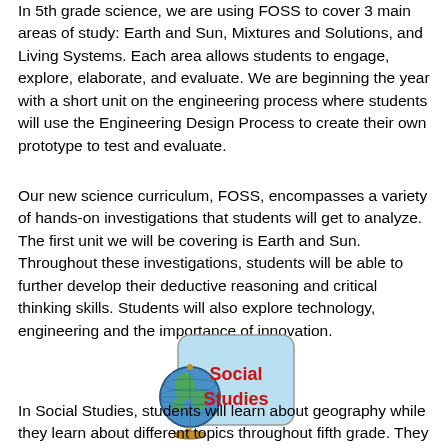In 5th grade science, we are using FOSS to cover 3 main areas of study: Earth and Sun, Mixtures and Solutions, and Living Systems. Each area allows students to engage, explore, elaborate, and evaluate. We are beginning the year with a short unit on the engineering process where students will use the Engineering Design Process to create their own prototype to test and evaluate.
Our new science curriculum, FOSS, encompasses a variety of hands-on investigations that students will get to analyze. The first unit we will be covering is Earth and Sun. Throughout these investigations, students will be able to further develop their deductive reasoning and critical thinking skills. Students will also explore technology, engineering and the importance of innovation.
[Figure (illustration): A globe on a stand with a rounded rectangle sign reading 'Social Studies' in red text on a light blue background]
In Social Studies, students will learn about geography while they learn about different topics throughout fifth grade. They